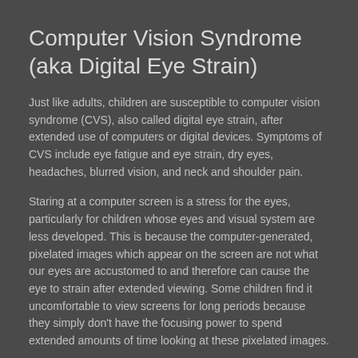Computer Vision Syndrome (aka Digital Eye Strain)
Just like adults, children are susceptible to computer vision syndrome (CVS), also called digital eye strain, after extended use of computers or digital devices. Symptoms of CVS include eye fatigue and eye strain, dry eyes, headaches, blurred vision, and neck and shoulder pain.
Staring at a computer screen is a stress for the eyes, particularly for children whose eyes and visual system are less developed. This is because the computer-generated, pixelated images which appear on the screen are not what our eyes are accustomed to and therefore can cause the eye to strain after extended viewing. Some children find it uncomfortable to view screens for long periods because they simply don't have the focusing power to spend extended amounts of time looking at these pixelated images.
Children don't always have the self control to limit computer